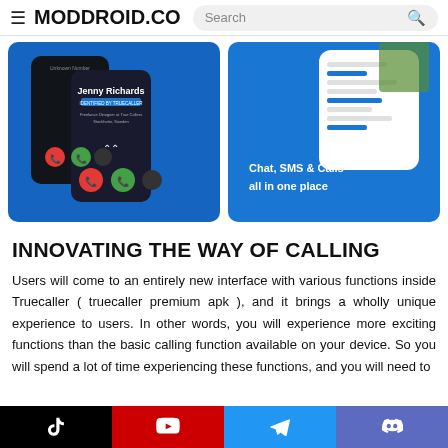≡ MODDROID.CO  Search 🔍
[Figure (screenshot): Two smartphone screens showing Truecaller calling interface with caller ID for Jenny Richards, red decline and green accept buttons, on a blue background]
[Figure (screenshot): Smartphone showing messaging/chat interface on blue background with text: Chat, SMS & Calls - all in one place]
INNOVATING THE WAY OF CALLING
Users will come to an entirely new interface with various functions inside Truecaller ( truecaller premium apk ), and it brings a wholly unique experience to users. In other words, you will experience more exciting functions than the basic calling function available on your device. So you will spend a lot of time experiencing these functions, and you will need to
TikTok | YouTube | Telegram | Discord